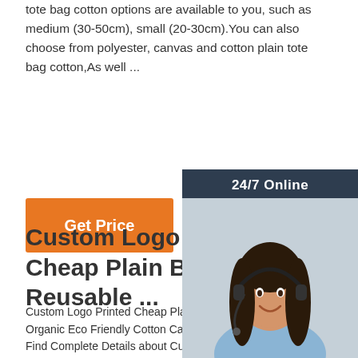tote bag cotton options are available to you, such as medium (30-50cm), small (20-30cm).You can also choose from polyester, canvas and cotton plain tote bag cotton,As well ...
Get Price
[Figure (other): Customer service representative with headset, 24/7 Online chat panel with QUOTATION button]
Custom Logo Printe... Cheap Plain Bulk L... Reusable ...
Custom Logo Printed Cheap Plain Bulk Large Reusable Organic Eco Friendly Cotton Canvas Tote Shopping Bag, Find Complete Details about Custom Logo Printed Cheap